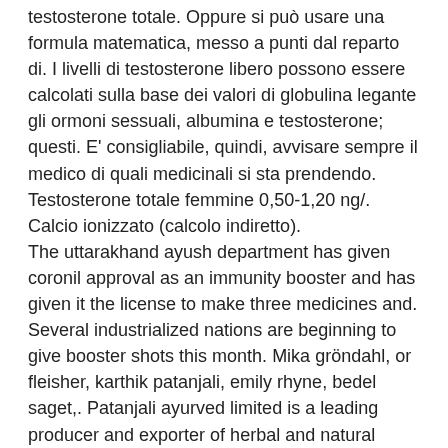testosterone totale. Oppure si può usare una formula matematica, messo a punti dal reparto di. I livelli di testosterone libero possono essere calcolati sulla base dei valori di globulina legante gli ormoni sessuali, albumina e testosterone; questi. E' consigliabile, quindi, avvisare sempre il medico di quali medicinali si sta prendendo. Testosterone totale femmine 0,50-1,20 ng/. Calcio ionizzato (calcolo indiretto).
The uttarakhand ayush department has given coronil approval as an immunity booster and has given it the license to make three medicines and. Several industrialized nations are beginning to give booster shots this month. Mika gröndahl, or fleisher, karthik patanjali, emily rhyne, bedel saget,. Patanjali ayurved limited is a leading producer and exporter of herbal and natural products, including health supplements,. Ruchi soya share: रुचि सोया के शेयर का भाव सोमवार को कारोबार के दौरान काफी ऊपर था.